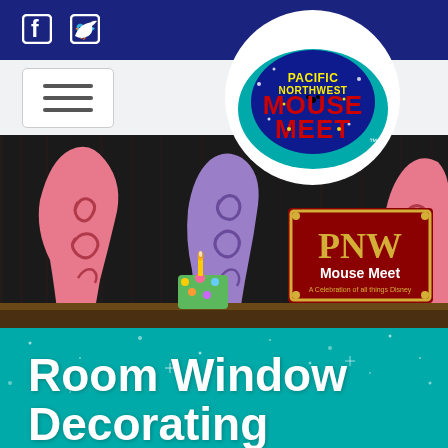Pacific Northwest Mouse Meet website header with Facebook and Twitter icons
[Figure (logo): Pacific Northwest Mouse Meet logo — retro rocket/fin shape in blue with yellow stars, red text MOUSE MEET, yellow text PACIFIC NORTHWEST, on a teal background, inside a white circle]
[Figure (photo): Event stage photo showing colorful Fantasia-style mushroom/coral prop cutouts in pink and purple, a small birthday cake with a candle on a table, and a PNW Mouse Meet decorative sign with ornate gold border on dark red background]
Room Window Decorating